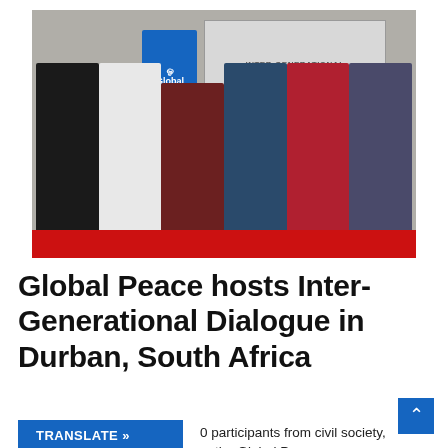[Figure (photo): Group photo of six people standing in a row at an Inter-Generational Dialogues event in Durban, South Africa. A blue banner with 'Global' logo is visible on the left. A screen in the background shows 'INTER-GENERATIONAL DIALOGUES DURBAN, SOUTH AFRICA'.]
Global Peace hosts Inter-Generational Dialogue in Durban, South Africa
TRANSLATE »
0 participants from civil society, the Global P...